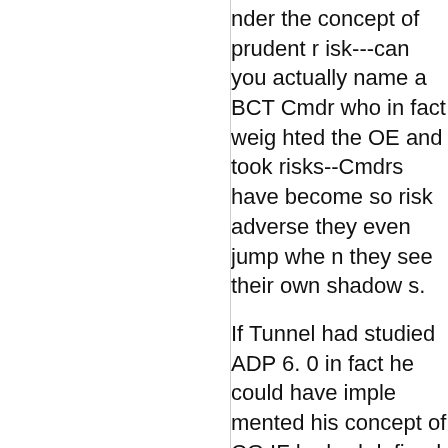nder the concept of prudent risk---can you actually name a BCT Cmdr who in fact weighed the OE and took risks--Cmdrs have become so risk adverse they even jump when they see their own shadows.
If Tunnel had studied ADP 6.0 in fact he could have implemented his concept of CG IF he had defined a clear Cmdrs' intent with a clear Mission Order and if he had taken prudent risk he in fact could have fought a CG in his OE and still remained inside NCA/CENTCOM/COMISAF guida